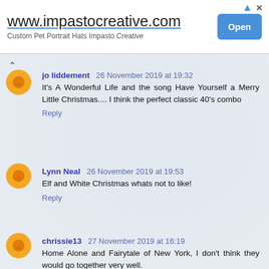[Figure (screenshot): Advertisement banner for www.impastocreative.com with 'Custom Pet Portrait Hats Impasto Creative' subtitle and a blue 'Open' button]
jo liddement 26 November 2019 at 19:32
It's A Wonderful Life and the song Have Yourself a Merry Little Christmas.... I think the perfect classic 40's combo
Reply
Lynn Neal 26 November 2019 at 19:53
Elf and White Christmas whats not to like!
Reply
chrissie13 27 November 2019 at 16:19
Home Alone and Fairytale of New York, I don't think they would go together very well.